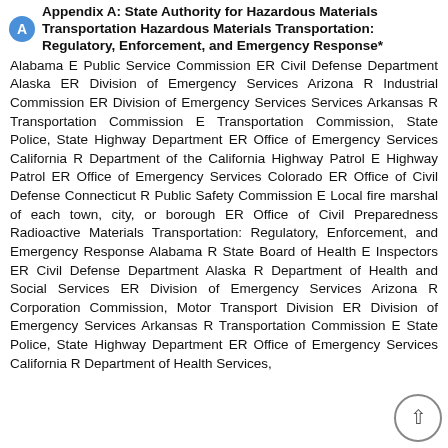Appendix A: State Authority for Hazardous Materials Transportation Hazardous Materials Transportation: Regulatory, Enforcement, and Emergency Response*
Alabama E Public Service Commission ER Civil Defense Department Alaska ER Division of Emergency Services Arizona R Industrial Commission ER Division of Emergency Services Arkansas R Transportation Commission E Transportation Commission, State Police, State Highway Department ER Office of Emergency Services California R Department of the California Highway Patrol E Highway Patrol ER Office of Emergency Services Colorado ER Office of Civil Defense Connecticut R Public Safety Commission E Local fire marshal of each town, city, or borough ER Office of Civil Preparedness Radioactive Materials Transportation: Regulatory, Enforcement, and Emergency Response Alabama R State Board of Health E Inspectors ER Civil Defense Department Alaska R Department of Health and Social Services ER Division of Emergency Services Arizona R Corporation Commission, Motor Transport Division ER Division of Emergency Services Arkansas R Transportation Commission E State Police, State Highway Department ER Office of Emergency Services California R Department of Health Services,